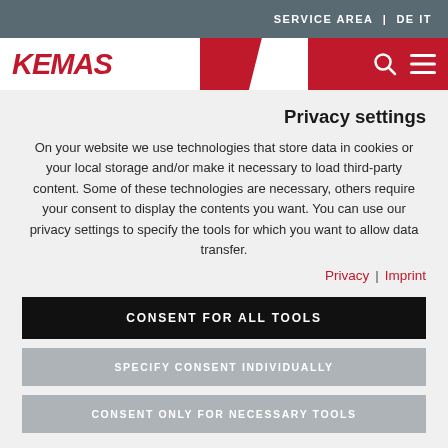SERVICE AREA | DE IT
[Figure (logo): KEMAS logo with red italic text and red diagonal banner, search and menu icons]
Privacy settings
On your website we use technologies that store data in cookies or your local storage and/or make it necessary to load third-party content. Some of these technologies are necessary, others require your consent to display the contents you want. You can use our privacy settings to specify the tools for which you want to allow data transfer.
Privacy | Imprint
CONSENT FOR ALL TOOLS
SPECIFY CONSENT INDIVIDUALLY
CONSENT ONLY FOR NECESSARY TOOLS